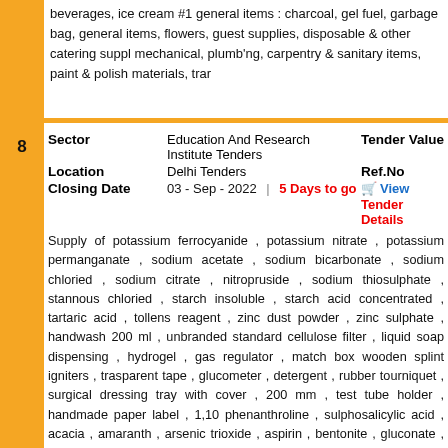beverages, ice cream #1 general items : charcoal, gel fuel, garbage bag, general items, flowers, guest supplies, disposable & other catering supplies, mechanical, plumb'ng, carpentry & sanitary items, paint & polish materials, tra...
| Field | Value | Right |
| --- | --- | --- |
| Sector | Education And Research Institute Tenders | Tender Value |
| Location | Delhi Tenders | Ref.No |
| Closing Date | 03 - Sep - 2022 | 5 Days to go | View Tender Details |
Supply of potassium ferrocyanide , potassium nitrate , potassium permanganate , sodium acetate , sodium bicarbonate , sodium chloried , sodium citrate , nitropruside , sodium thiosulphate , stannous chloried , starch insoluble , starch acid concentrated , tartaric acid , tollens reagent , zinc dust powder , zinc sulphate , handwash 200 ml , unbranded standard cellulose filter , liquid soap dispensing , hydrogel , gas regulator , match box wooden splint igniters , trasparent tape , glucometer , detergent , rubber tourniquet , surgical dressing tray with cover , 200 mm , test tube holder , handmade paper label , 1,10 phenanthroline , sulphosalicylic acid , acacia , amaranth , arsenic trioxide , aspirin , bentonite , gluconate , calcium-d-saccharate , carbopol , cerric ammonium sulphate , chloralhydrate , chromyl chloride , cod liver oil , creatinine hydrochloried , reaegnt , gum acacia , hard paraffin , hydroxy naphthal blue , ibuprofen , lactose , magnesium uranyl acetate , menthol , methyl cellulose , methyl paraben , mineral oil , paracetamol , peppermint oil , phenyl hydrazien hcl , phloroglucinol , pipe dihydrogen orthophosphate , potassium ferricyanide , potassium hydroxide , seliwanoffs reagent , sodium alginate , sodium desoxycholate , sodium saccharate